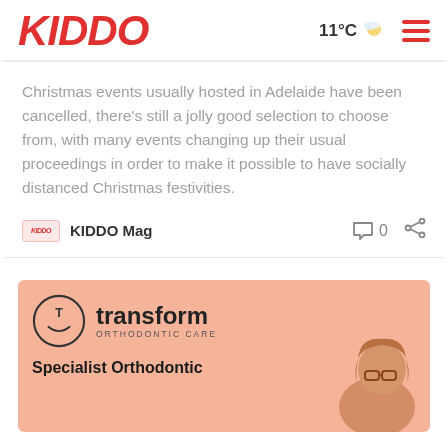KIDDO  11°C  ☁ ☀
Christmas events usually hosted in Adelaide have been cancelled, there's still a jolly good selection to choose from, with many events changing up their usual proceedings in order to make it possible to have socially distanced Christmas festivities.
KIDDO Mag   💬 0   🔗
[Figure (logo): Transform Orthodontic Care advertisement banner with logo (a circle containing a T and smiley face), brand name 'transform ORTHODONTIC CARE', and tagline 'Specialist Orthodontic' with a photo of a woman.]